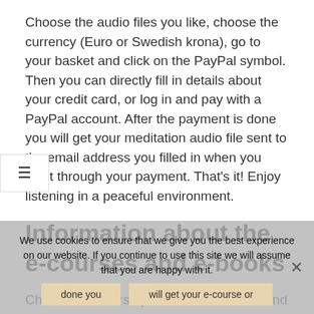Choose the audio files you like, choose the currency (Euro or Swedish krona), go to your basket and click on the PayPal symbol. Then you can directly fill in details about your credit card, or log in and pay with a PayPal account. After the payment is done you will get your meditation audio file sent to the email address you filled in when you went through your payment. That's it! Enjoy listening in a peaceful environment.
Information about the e-courses and e-books
Choose the course you are interested in and click, choose the currency (Euro or Swedish krona), go to your basket and click on the PayPal symbol. Then you can directly fill in details about your credit card, or log in and pay with a PayPal account. After the payment is done you will get your e-course or e-book, sent to the email address you filled in when you went through your
We use cookies to ensure that we give you the best experience on our website. If you continue to use this site we will assume that you are happy with it.